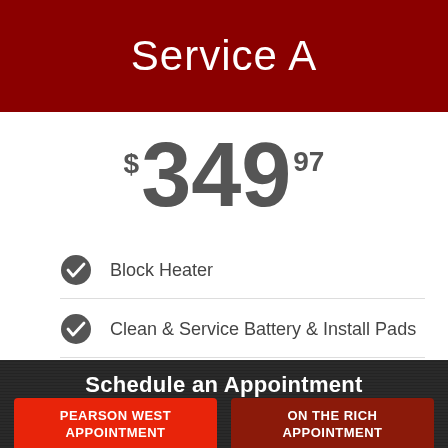Service A
$349.97
Block Heater
Clean & Service Battery & Install Pads
Install Engine Oil Pad
Schedule an Appointment
PEARSON WEST APPOINTMENT
ON THE RICH APPOINTMENT